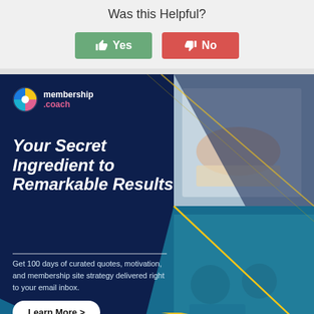Was this Helpful?
[Figure (infographic): Two buttons: a green thumbs-up Yes button and a red thumbs-down No button]
[Figure (infographic): Membership.coach advertisement banner with dark navy background, logo, headline 'Your Secret Ingredient to Remarkable Results', body text about 100 days of curated quotes, motivation, and membership site strategy, a Learn More button, and photo panels on the right showing hands writing and two women at a meeting.]
Your Secret Ingredient to Remarkable Results
Get 100 days of curated quotes, motivation, and membership site strategy delivered right to your email inbox.
Learn More >